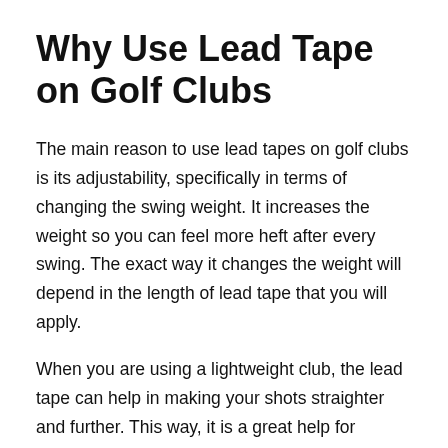Why Use Lead Tape on Golf Clubs
The main reason to use lead tapes on golf clubs is its adjustability, specifically in terms of changing the swing weight. It increases the weight so you can feel more heft after every swing. The exact way it changes the weight will depend in the length of lead tape that you will apply.
When you are using a lightweight club, the lead tape can help in making your shots straighter and further. This way, it is a great help for beginners who aren't confident of the power of their swing. This makes it important if you are interested to learn how to increase golf club speed.
While changing swing weight is the most significant benefit, it can also do other things. For instance, it can make the ball...